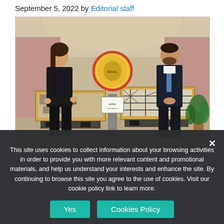September 5, 2022 by Editorial staff
[Figure (photo): Two people standing on either side of open wooden crates containing ancient mosaic artifacts, in an ornate interior hallway with arched ceilings. A circular seal/logo is displayed on a stand between them.]
This site uses cookies to collect information about your browsing activities in order to provide you with more relevant content and promotional materials, and help us understand your interests and enhance the site. By continuing to browse this site you agree to the use of cookies. Visit our cookie policy link to learn more.